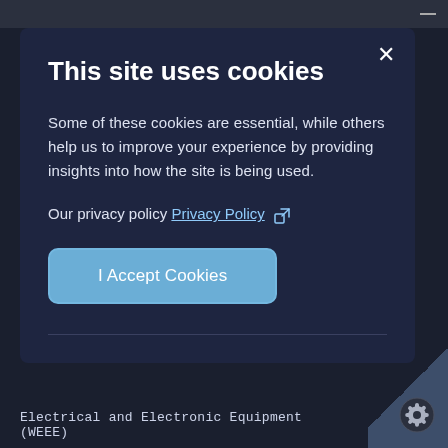This site uses cookies
Some of these cookies are essential, while others help us to improve your experience by providing insights into how the site is being used.
Our privacy policy Privacy Policy
I Accept Cookies
Electrical and Electronic Equipment (WEEE)